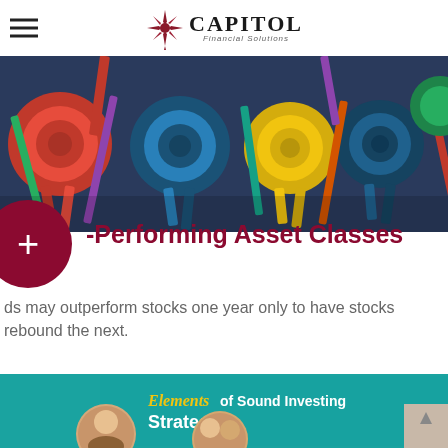Capitol Financial Solutions
[Figure (photo): Colorful award ribbons and rosettes in red, blue, yellow, and other colors arranged together]
-Performing Asset Classes
ds may outperform stocks one year only to have stocks rebound the next.
[Figure (photo): Tablet showing a teal-colored book cover titled 'Elements of Sound Investing Strategies' with circular photos of people]